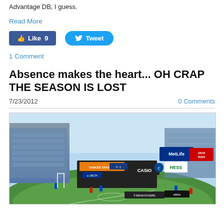Advantage DB, I guess.
Read More
[Figure (screenshot): Facebook Like button showing 9 likes and Twitter Tweet button]
1 Comment
Absence makes the heart... OH CRAP THE SEASON IS LOST
7/23/2012   0 Comments
[Figure (photo): Panoramic photo of Yankee Stadium during a soccer match with Chelsea, showing the field and stadium with sponsors MetLife, HESS, CASIO, Budweiser, adidas, Delta, and others visible on scoreboards and signage.]